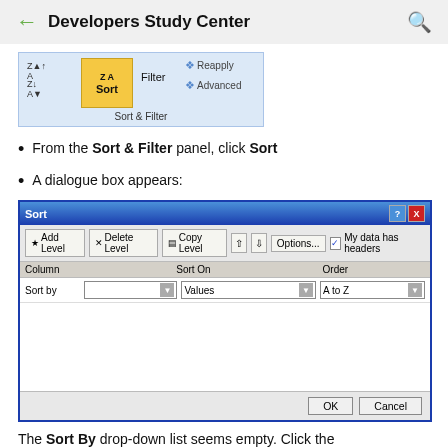Developers Study Center
[Figure (screenshot): Excel ribbon showing Sort & Filter panel with Sort button highlighted in yellow, ZA/AZ sort icons, Filter button, Reapply and Advanced options]
From the Sort & Filter panel, click Sort
A dialogue box appears:
[Figure (screenshot): Excel Sort dialogue box showing Add Level, Delete Level, Copy Level buttons, Options button, My data has headers checkbox, Column/Sort On/Order table with Sort by row showing Values and A to Z dropdowns, and OK/Cancel buttons]
The Sort By drop-down list seems empty. Click the